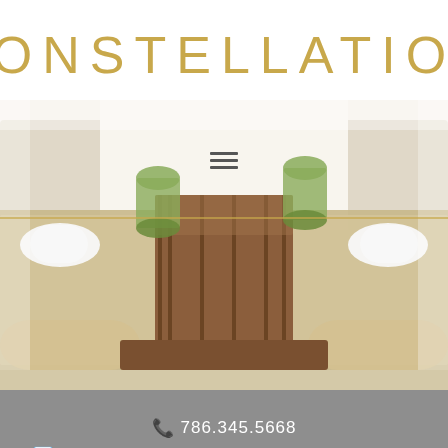CONSTELLATION
[Figure (photo): Restaurant dining table set with woven placemats, green glass tumblers, white napkins, and wooden slat table surface, viewed from above at angle. Golden horizontal line overlay across the image.]
📞 786.345.5668
✉ LILLIAN.ROJAS@CONSTELLATIONCULINARY.COM
COPYRIGHT © Constellation. 2022. ALL RIGHTS RESERVED.